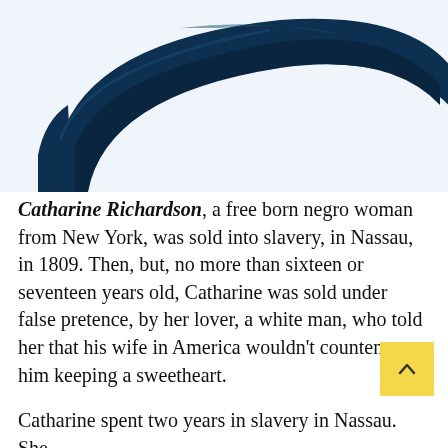[Figure (photo): Partial view of a dark navy blue curved object (possibly a hat or silhouette) against a light bluish-white background.]
Catharine Richardson, a free born negro woman from New York, was sold into slavery, in Nassau, in 1809. Then, but, no more than sixteen or seventeen years old, Catharine was sold under false pretence, by her lover, a white man, who told her that his wife in America wouldn't countenance him keeping a sweetheart.

Catharine spent two years in slavery in Nassau. She